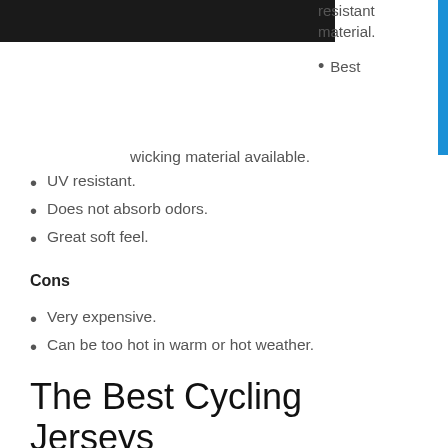[Figure (photo): Dark/black photo at top left, partially cropped]
resistant material.
Best wicking material available.
UV resistant.
Does not absorb odors.
Great soft feel.
Cons
Very expensive.
Can be too hot in warm or hot weather.
The Best Cycling Jerseys
Northwave Blade Air 3
[Figure (photo): Cycling jersey product photo, partially visible at bottom]